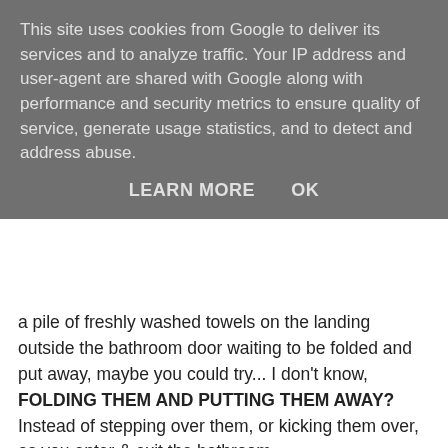This site uses cookies from Google to deliver its services and to analyze traffic. Your IP address and user-agent are shared with Google along with performance and security metrics to ensure quality of service, generate usage statistics, and to detect and address abuse.
LEARN MORE   OK
a pile of freshly washed towels on the landing outside the bathroom door waiting to be folded and put away, maybe you could try... I don't know, FOLDING THEM AND PUTTING THEM AWAY? Instead of stepping over them, or kicking them over, as you enter & exit the bathroom.
I also don't need proof that you've had a bath by way of leaving a ring of doom around the edge of the tub. Feel free to rinse it afterwards.
The plastic basket shaped objects in your bedrooms are laundry baskets. To clarify - they are baskets, where you put your laundry. So instead of screwing your clothes up into a crumpled mess and stuffing them down the side of your